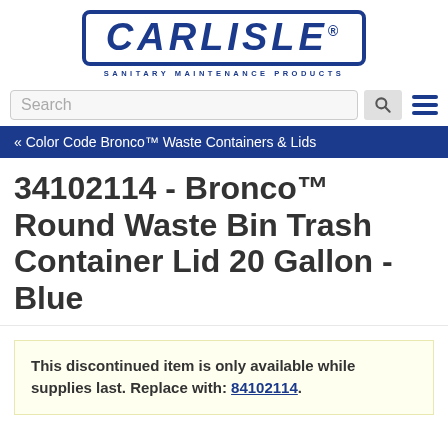[Figure (logo): Carlisle Sanitary Maintenance Products logo — bold dark blue stylized text CARLISLE in italic with border, subtitle SANITARY MAINTENANCE PRODUCTS below]
Search
« Color Code Bronco™ Waste Containers & Lids
34102114 - Bronco™ Round Waste Bin Trash Container Lid 20 Gallon - Blue
This discontinued item is only available while supplies last. Replace with: 84102114.